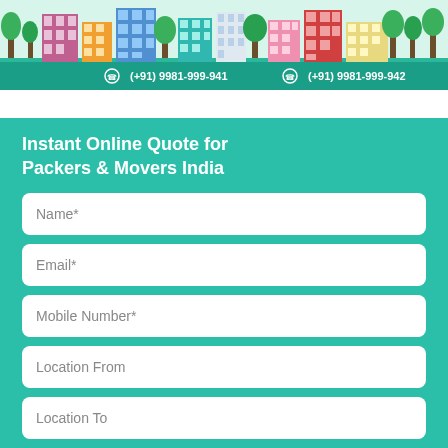[Figure (illustration): Colorful cartoon cityscape banner with buildings, trees, in greens, blues, oranges, reds, and purples]
(+91) 9981-999-941    (+91) 9981-999-942
Instant Online Quote for Packers & Movers India
Name*
Email*
Mobile Number*
Location From
Location To
Moving Date